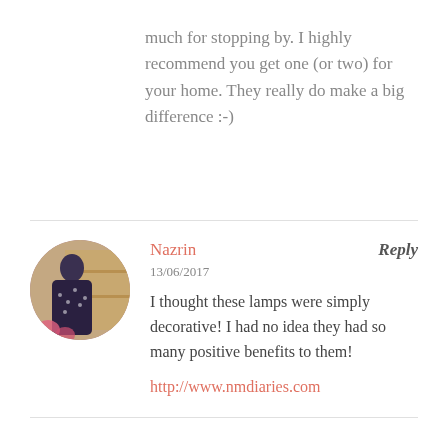much for stopping by. I highly recommend you get one (or two) for your home. They really do make a big difference :-)
Nazrin
13/06/2017
I thought these lamps were simply decorative! I had no idea they had so many positive benefits to them!
http://www.nmdiaries.com